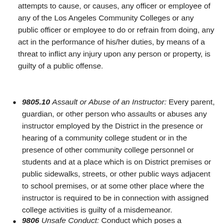attempts to cause, or causes, any officer or employee of any of the Los Angeles Community Colleges or any public officer or employee to do or refrain from doing, any act in the performance of his/her duties, by means of a threat to inflict any injury upon any person or property, is guilty of a public offense.
9805.10 Assault or Abuse of an Instructor: Every parent, guardian, or other person who assaults or abuses any instructor employed by the District in the presence or hearing of a community college student or in the presence of other community college personnel or students and at a place which is on District premises or public sidewalks, streets, or other public ways adjacent to school premises, or at some other place where the instructor is required to be in connection with assigned college activities is guilty of a misdemeanor.
9806 Unsafe Conduct: Conduct which poses a